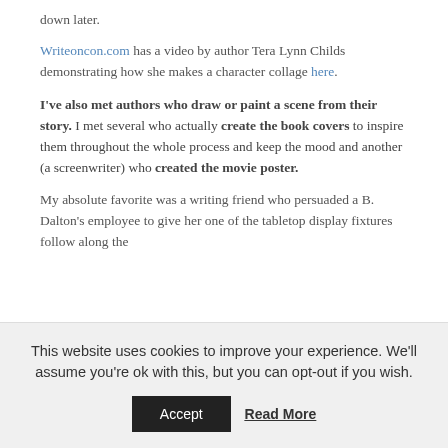down later.
Writeoncon.com has a video by author Tera Lynn Childs demonstrating how she makes a character collage here.
I've also met authors who draw or paint a scene from their story. I met several who actually create the book covers to inspire them throughout the whole process and keep the mood and another (a screenwriter) who created the movie poster.
My absolute favorite was a writing friend who persuaded a B. Dalton's employee to give her one of the tabletop display fixtures follow along the...
This website uses cookies to improve your experience. We'll assume you're ok with this, but you can opt-out if you wish.